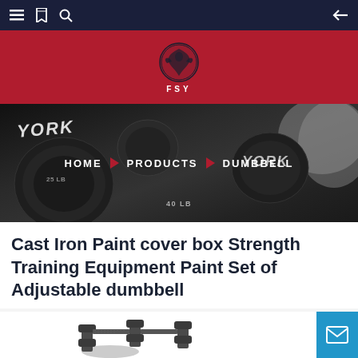Navigation bar with menu, bookmark, search icons and back arrow
[Figure (logo): FSY logo: stylized eagle/bird emblem in circle on red background with FSY text below]
[Figure (photo): Hero banner showing dumbbells with YORK branding, dark background, breadcrumb navigation overlay: HOME > PRODUCTS > DUMBBELL]
Cast Iron Paint cover box Strength Training Equipment Paint Set of Adjustable dumbbell
[Figure (photo): Product photo showing adjustable dumbbell weights at bottom of page]